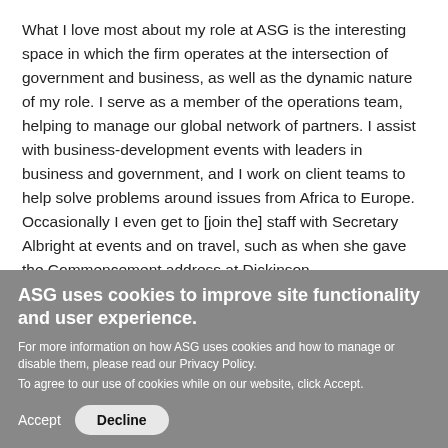What I love most about my role at ASG is the interesting space in which the firm operates at the intersection of government and business, as well as the dynamic nature of my role. I serve as a member of the operations team, helping to manage our global network of partners. I assist with business-development events with leaders in business and government, and I work on client teams to help solve problems around issues from Africa to Europe. Occasionally I even get to [join the] staff with Secretary Albright at events and on travel, such as when she gave the Commencement address at Dickinson.
ASG uses cookies to improve site functionality and user experience.
For more information on how ASG uses cookies and how to manage or disable them, please read our Privacy Policy.
To agree to our use of cookies while on our website, click Accept.
Accept   Decline